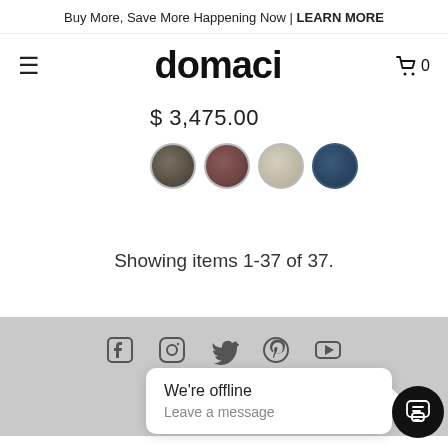Buy More, Save More Happening Now | LEARN MORE
domaci
$ 3,475.00
[Figure (photo): Four circular color swatches showing charcoal/dark gray, dark burgundy/mauve, light beige/cream, and dark navy blue fabric colors]
Showing items 1-37 of 37.
[Figure (infographic): Social media icons row: Facebook, Instagram, Twitter, Pinterest, YouTube]
OUR COMPANY
Visit Our Bethlehem Shops
We're offline
Leave a message